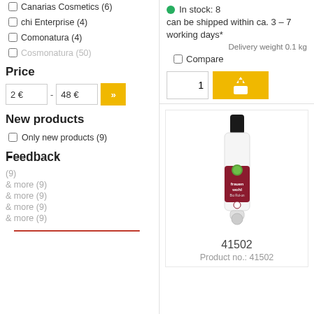Canarias Cosmetics (6)
chi Enterprise (4)
Comonatura (4)
Cosmonatura (50)
Price
2 € - 48 €
New products
Only new products (9)
Feedback
(9)
& more (9)
& more (9)
& more (9)
& more (9)
In stock: 8
can be shipped within ca. 3 - 7 working days*
Delivery weight 0.1 kg
Compare
[Figure (photo): Product bottle for 41502 - frauen wohl essential oil roll-on]
41502
Product no.: 41502